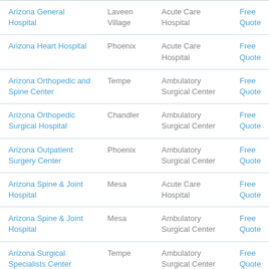| Arizona General Hospital | Laveen Village | Acute Care Hospital | Free Quote |
| Arizona Heart Hospital | Phoenix | Acute Care Hospital | Free Quote |
| Arizona Orthopedic and Spine Center | Tempe | Ambulatory Surgical Center | Free Quote |
| Arizona Orthopedic Surgical Hospital | Chandler | Ambulatory Surgical Center | Free Quote |
| Arizona Outpatient Surgery Center | Phoenix | Ambulatory Surgical Center | Free Quote |
| Arizona Spine & Joint Hospital | Mesa | Acute Care Hospital | Free Quote |
| Arizona Spine & Joint Hospital | Mesa | Ambulatory Surgical Center | Free Quote |
| Arizona Surgical Specialists Center | Tempe | Ambulatory Surgical Center | Free Quote |
| Arrowhead Community | Glendale | Acute Care | Free |